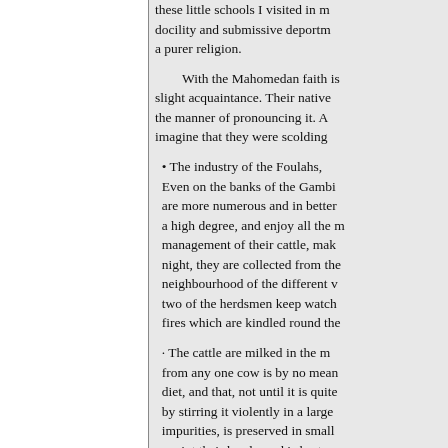these little schools I visited in m docility and submissive deportm a purer religion.
With the Mahomedan faith is slight acquaintance. Their native the manner of pronouncing it. A imagine that they were scolding
• The industry of the Foulahs, Even on the banks of the Gambi are more numerous and in better a high degree, and enjoy all the management of their cattle, mak night, they are collected from the neighbourhood of the different v two of the herdsmen keep watch fires which are kindled round the
· The cattle are milked in the m from any one cow is by no mean diet, and that, not until it is quite by stirring it violently in a large impurities, is preserved in small anoint their heads, and is bestou